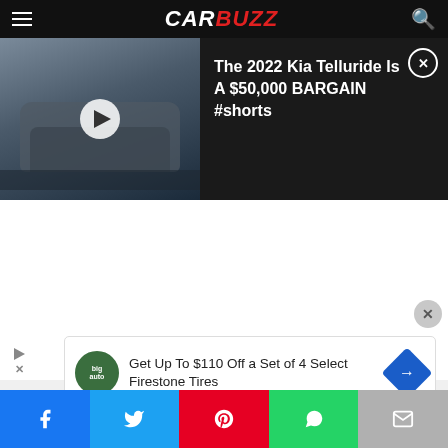CARBUZZ
[Figure (screenshot): Video player showing a Kia Telluride SUV on a road, with play button overlay. Title reads: The 2022 Kia Telluride Is A $50,000 BARGAIN #shorts]
[Figure (other): Advertisement: Get Up To $110 Off a Set of 4 Select Firestone Tires]
Social share bar with Facebook, Twitter, Pinterest, WhatsApp, Email buttons